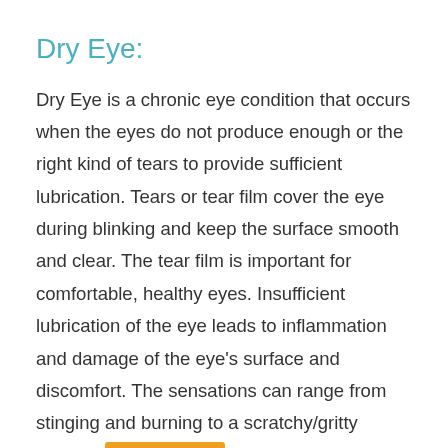Dry Eye:
Dry Eye is a chronic eye condition that occurs when the eyes do not produce enough or the right kind of tears to provide sufficient lubrication. Tears or tear film cover the eye during blinking and keep the surface smooth and clear. The tear film is important for comfortable, healthy eyes. Insufficient lubrication of the eye leads to inflammation and damage of the eye's surface and discomfort. The sensations can range from stinging and burning to a scratchy/gritty feeling s[Translate »]th a foreign body being caught in